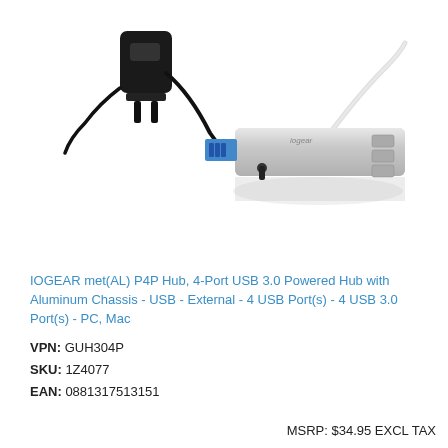[Figure (photo): Product photo of IOGEAR USB 3.0 hub - a slim aluminum USB hub with 4 ports and a black power adapter with cable shown alongside the hub]
IOGEAR met(AL) P4P Hub, 4-Port USB 3.0 Powered Hub with Aluminum Chassis - USB - External - 4 USB Port(s) - 4 USB 3.0 Port(s) - PC, Mac
VPN: GUH304P
SKU: 1Z4077
EAN: 0881317513151
MSRP: $34.95 EXCL TAX